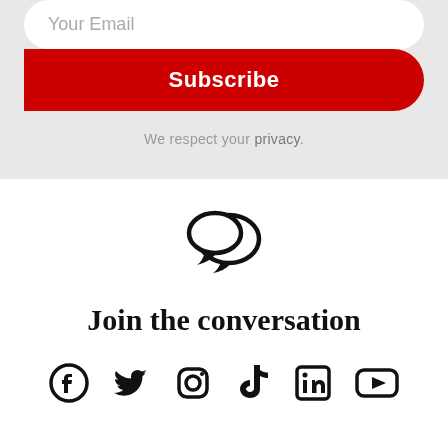Your Email
Subscribe
We respect your privacy.
[Figure (illustration): Two overlapping speech bubbles icon]
Join the conversation
[Figure (illustration): Social media icons: Facebook, Twitter, Instagram, TikTok, LinkedIn, YouTube]